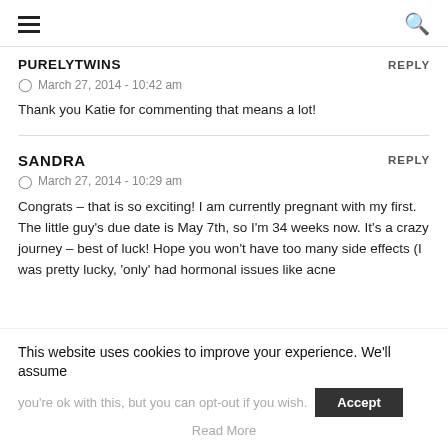Navigation bar with hamburger menu and search icon
PURELYTWINS
REPLY
March 27, 2014 - 10:42 am
Thank you Katie for commenting that means a lot!
SANDRA
REPLY
March 27, 2014 - 10:29 am
Congrats – that is so exciting! I am currently pregnant with my first. The little guy's due date is May 7th, so I'm 34 weeks now. It's a crazy journey – best of luck! Hope you won't have too many side effects (I was pretty lucky, 'only' had hormonal issues like acne
This website uses cookies to improve your experience. We'll assume you're ok with this, but you can opt-out if you wish. Accept Read More